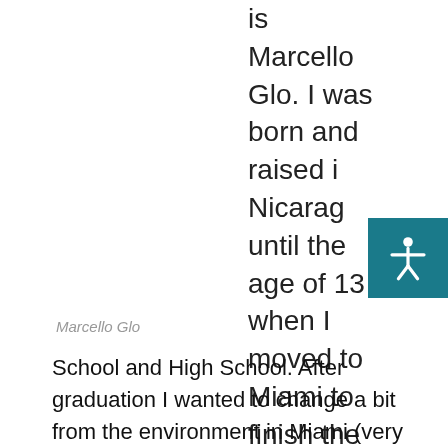is Marcello Glo. I was born and raised in Nicaragua until the age of 13 when I moved to Miami to finish the remaining years of Middle School and High School. After graduation I wanted to change a bit from the environment in Miami (very materialistic) to something a little saner, so I decided to come up North for a change of pace. Honestly, I can say that it was the best
Marcello Glo